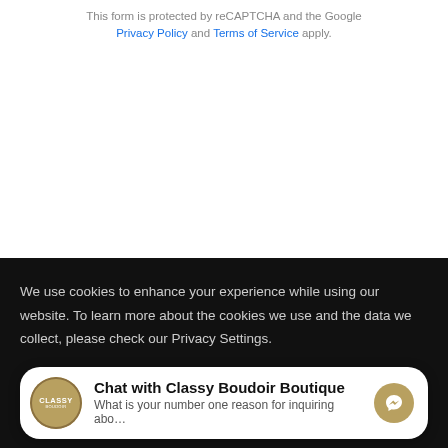This form is protected by reCAPTCHA and the Google Privacy Policy and Terms of Service apply.
We use cookies to enhance your experience while using our website. To learn more about the cookies we use and the data we collect, please check our Privacy Settings.
Chat with Classy Boudoir Boutique
What is your number one reason for inquiring abo...